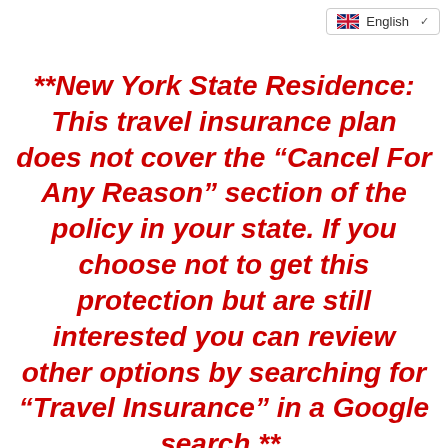English
**New York State Residence: This travel insurance plan does not cover the “Cancel For Any Reason” section of the policy in your state. If you choose not to get this protection but are still interested you can review other options by searching for “Travel Insurance” in a Google search.**.